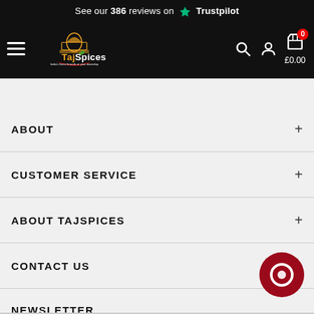[Figure (screenshot): TajSpices website header with Trustpilot bar showing '386 reviews', TajSpices logo, hamburger menu, search icon, account icon, and cart showing £0.00 with badge 0]
ABOUT
CUSTOMER SERVICE
ABOUT TAJSPICES
CONTACT US
NEWSLETTER